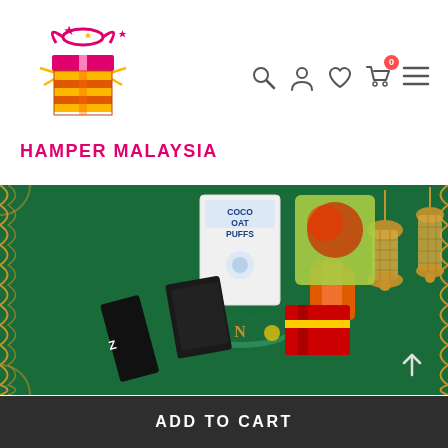[Figure (logo): Hamper Malaysia logo: a colorful gift box with stars and ribbons in pink, gold, and red, above the text HAMPER MALAYSIA in bold pink/magenta.]
[Figure (screenshot): Product photo: a hamper gift set displayed on a green background decorated with Islamic-style golden ornaments and lanterns, containing various food products including Coco Oat Puffs, chocolate, biscuit tin, supplement bottles, and other items.]
ADD TO CART